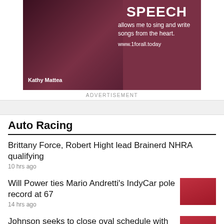[Figure (photo): Advertisement image featuring Kathy Mattea with text about free speech allowing singing and writing songs from the heart, with URL www.1forall.today]
ADVERTISEMENT
Auto Racing
Brittany Force, Robert Hight lead Brainerd NHRA qualifying
10 hrs ago
Will Power ties Mario Andretti's IndyCar pole record at 67
14 hrs ago
Johnson seeks to close oval schedule with 1st IndyCar win